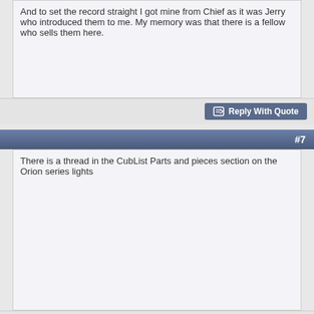And to set the record straight I got mine from Chief as it was Jerry who introduced them to me. My memory was that there is a fellow who sells them here.
Reply With Quote
#7
There is a thread in the CubList Parts and pieces section on the Orion series lights
Reply With Quote